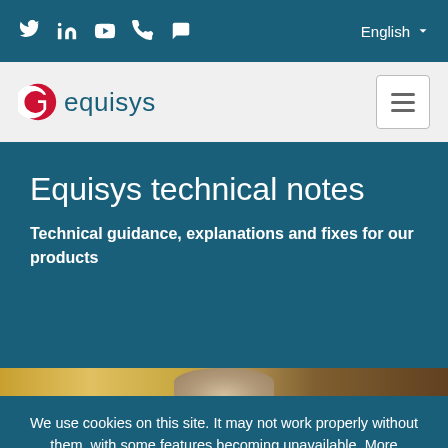Social icons: Twitter, LinkedIn, YouTube, Phone, Chat | English
[Figure (logo): Equisys logo with red crescent moon/circle icon and blue text 'equisys']
Equisys technical notes
Technical guidance, explanations and fixes for our products
[Figure (photo): Partial photo of person's head visible at bottom of hero section]
We use cookies on this site. It may not work properly without them, with some features becoming unavailable. More information about cookies and how we use them can be found here.